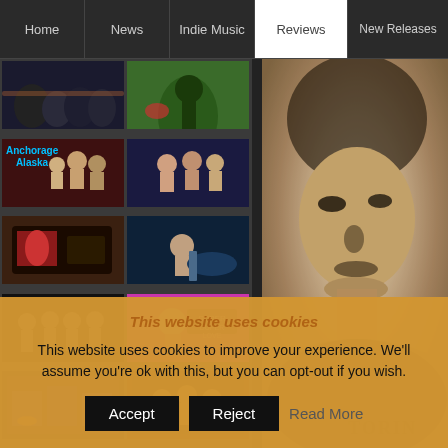Home | News | Indie Music | Reviews | New Releases
[Figure (screenshot): Website screenshot showing a music review site with navigation bar (Home, News, Indie Music, Reviews, New Releases), a grid of music-related thumbnail images on the left, and a vintage sepia album cover portrait on the right with text 'TORIN']
This website uses cookies
This website uses cookies to improve your experience. We'll assume you're ok with this, but you can opt-out if you wish.
Accept | Reject | Read More